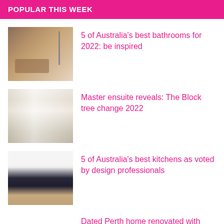POPULAR THIS WEEK
5 of Australia's best bathrooms for 2022: be inspired
Master ensuite reveals: The Block tree change 2022
5 of Australia's best kitchens as voted by design professionals
Dated Perth home renovated with clean, stylish result